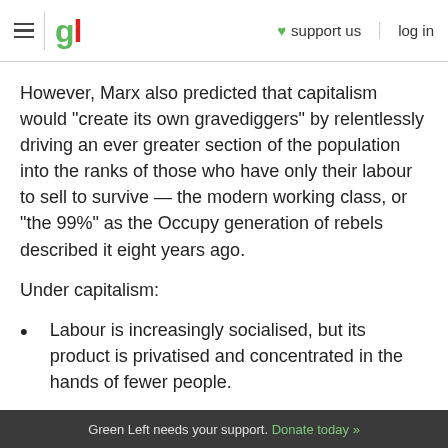gl | ♥ support us | log in
However, Marx also predicted that capitalism would “create its own gravediggers” by relentlessly driving an ever greater section of the population into the ranks of those who have only their labour to sell to survive — the modern working class, or “the 99%” as the Occupy generation of rebels described it eight years ago.
Under capitalism:
Labour is increasingly socialised, but its product is privatised and concentrated in the hands of fewer people.
Green Left needs your support. Donate today »